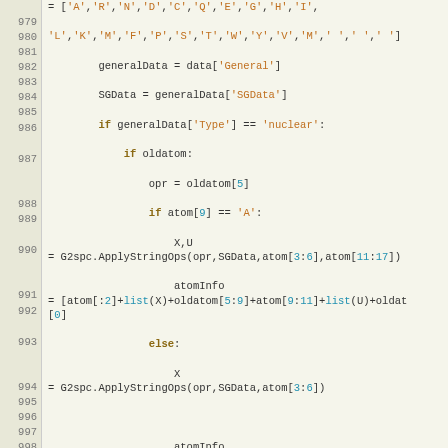[Figure (screenshot): Python source code editor showing lines 979-1001 with syntax highlighting. Code involves atom data processing, G2spc.ApplyStringOps calls, and macromolecular type handling.]